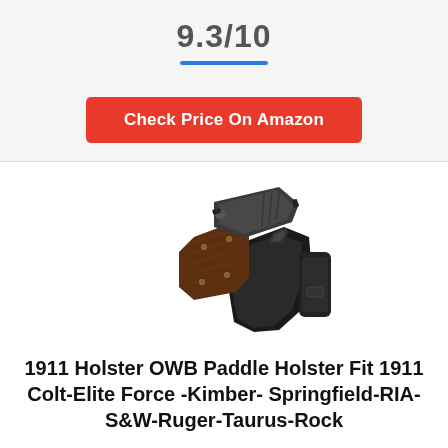9.3/10
[Figure (photo): Product photo of a black OWB paddle holster with a 1911-style pistol inserted, showing the gun grip with wood panels, slide, and the black polymer paddle holster body with a thumb release lever.]
1911 Holster OWB Paddle Holster Fit 1911 Colt-Elite Force -Kimber- Springfield-RIA-S&W-Ruger-Taurus-Rock